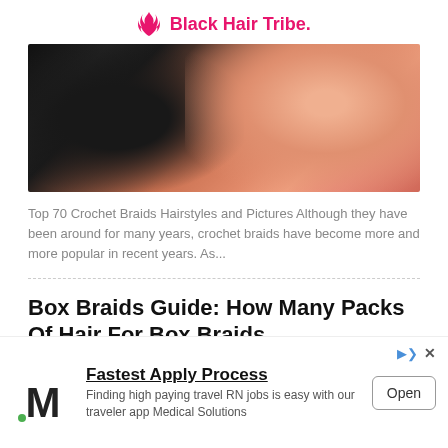Black Hair Tribe.
[Figure (photo): Close-up photo of a smiling Black woman with curly hair wearing a pink top, cropped to show face and shoulders]
Top 70 Crochet Braids Hairstyles and Pictures Although they have been around for many years, crochet braids have become more and more popular in recent years. As...
Box Braids Guide: How Many Packs Of Hair For Box Braids...
Dana - October 13, 2021
[Figure (photo): Partial view of a box braids hairstyle photo, dark tones]
Fastest Apply Process Finding high paying travel RN jobs is easy with our traveler app Medical Solutions